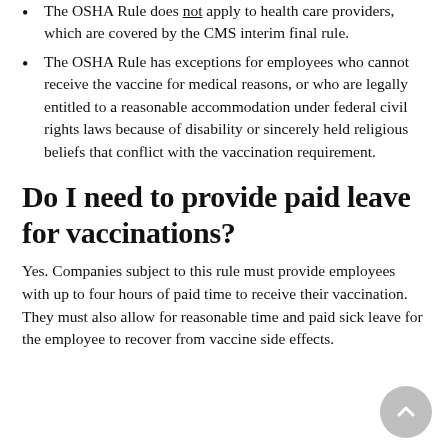The OSHA Rule does not apply to health care providers, which are covered by the CMS interim final rule.
The OSHA Rule has exceptions for employees who cannot receive the vaccine for medical reasons, or who are legally entitled to a reasonable accommodation under federal civil rights laws because of disability or sincerely held religious beliefs that conflict with the vaccination requirement.
Do I need to provide paid leave for vaccinations?
Yes. Companies subject to this rule must provide employees with up to four hours of paid time to receive their vaccination. They must also allow for reasonable time and paid sick leave for the employee to recover from vaccine side effects.